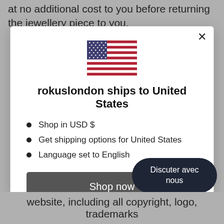at no additional cost to you before returning the jewellery piece to you.
[Figure (illustration): US flag SVG illustration inside modal dialog]
rokuslondon ships to United States
Shop in USD $
Get shipping options for United States
Language set to English
Shop now
Change shipping country and
Discuter avec nous
website, including all copyright, logo, trademarks